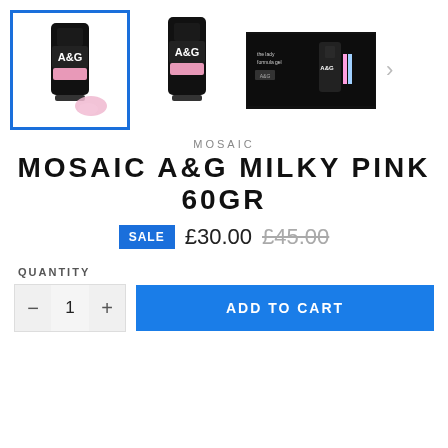[Figure (photo): Product image gallery showing three thumbnails of Mosaic A&G Milky Pink 60gr. First thumbnail is selected (blue border) showing a black tube with pink gel. Second shows the same tube. Third shows a dark promotional image. Arrow chevron on right for more images.]
MOSAIC
MOSAIC A&G MILKY PINK 60GR
SALE £30.00 £45.00
QUANTITY
- 1 + ADD TO CART